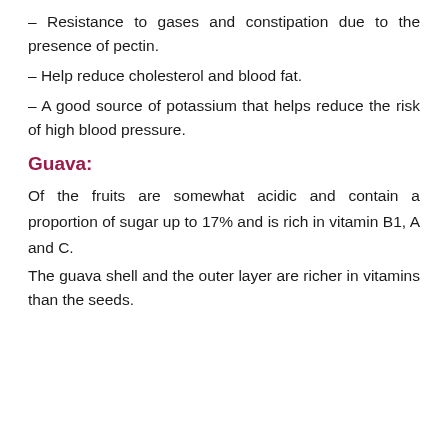– Resistance to gases and constipation due to the presence of pectin.
– Help reduce cholesterol and blood fat.
– A good source of potassium that helps reduce the risk of high blood pressure.
Guava:
Of the fruits are somewhat acidic and contain a proportion of sugar up to 17% and is rich in vitamin B1, A and C.
The guava shell and the outer layer are richer in vitamins than the seeds.